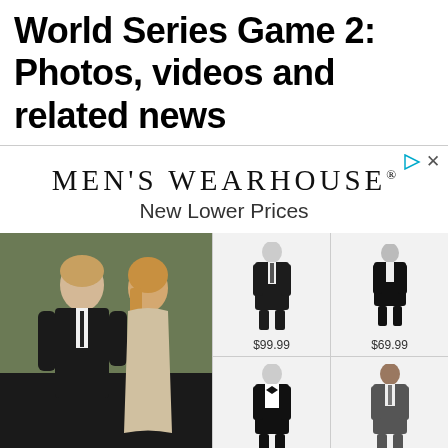World Series Game 2: Photos, videos and related news
[Figure (infographic): Men's Wearhouse advertisement with logo, 'New Lower Prices' tagline, and product photos of men in suits with prices $99.99 and $69.99]